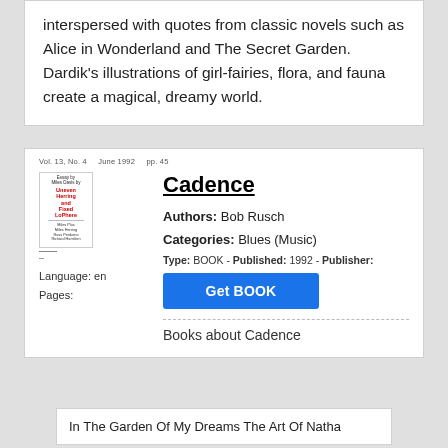interspersed with quotes from classic novels such as Alice in Wonderland and The Secret Garden. Dardik's illustrations of girl-fairies, flora, and fauna create a magical, dreamy world.
[Figure (other): Book listing card for 'Cadence' showing a small book thumbnail on the left with red text, metadata fields (Language: en, Pages:), and on the right: title 'Cadence' with underline, Authors: Bob Rusch, Categories: Blues (Music), Type: BOOK - Published: 1992 - Publisher:, a blue 'Get BOOK' button, a dashed separator, and text 'Books about Cadence']
In The Garden Of My Dreams The Art Of Natha